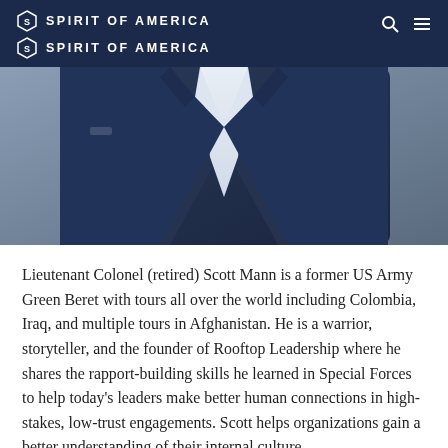SPIRIT OF AMERICA (x2 logo lines)
[Figure (photo): Close-up photo of a person wearing a dark navy suit with a white shirt, torso only visible, gray background.]
Lieutenant Colonel (retired) Scott Mann is a former US Army Green Beret with tours all over the world including Colombia, Iraq, and multiple tours in Afghanistan. He is a warrior, storyteller, and the founder of Rooftop Leadership where he shares the rapport-building skills he learned in Special Forces to help today's leaders make better human connections in high-stakes, low-trust engagements. Scott helps organizations gain a better understanding of their internal culture